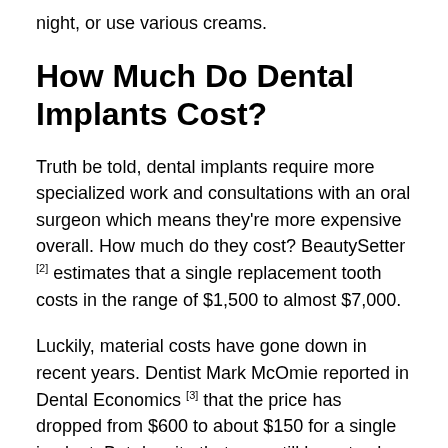night, or use various creams.
How Much Do Dental Implants Cost?
Truth be told, dental implants require more specialized work and consultations with an oral surgeon which means they're more expensive overall. How much do they cost? BeautySetter [2] estimates that a single replacement tooth costs in the range of $1,500 to almost $7,000.
Luckily, material costs have gone down in recent years. Dentist Mark McOmie reported in Dental Economics [3] that the price has dropped from $600 to about $150 for a single implant. But despite that, you still have to shop around for surgeons and replacement teeth options to find the best deal. You